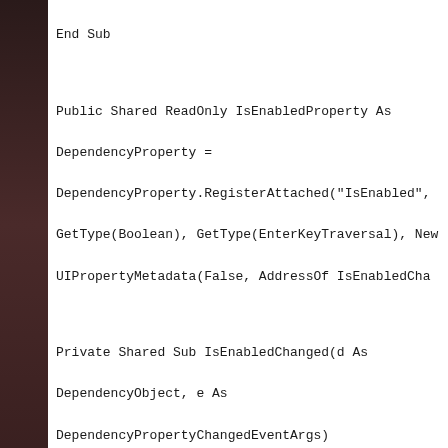End Sub

Public Shared ReadOnly IsEnabledProperty As DependencyProperty = DependencyProperty.RegisterAttached("IsEnabled", GetType(Boolean), GetType(EnterKeyTraversal), New UIPropertyMetadata(False, AddressOf IsEnabledCha

Private Shared Sub IsEnabledChanged(d As DependencyObject, e As DependencyPropertyChangedEventArgs)

Dim ue = TryCast(d, FrameworkElement)

If ue Is Nothing Then

Return

End If

If CBool(e.NewValue) Then

AddHandler ue.Unloaded, AddressOf ueUnloaded

AddHandler ue.PreviewKeyDown, AddressOf uePreviewKeyDown

Else

RemoveHandler ue.PreviewKeyDown, AddressOf uePreviewKeyDown